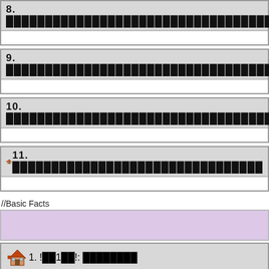8. ████████████████████████████████████████████
9. ████████████████████████████████████████████
10. ████████████████████████████████████████████
11. ████████████████████████████████
//Basic Facts
1. !██1██!: ████████